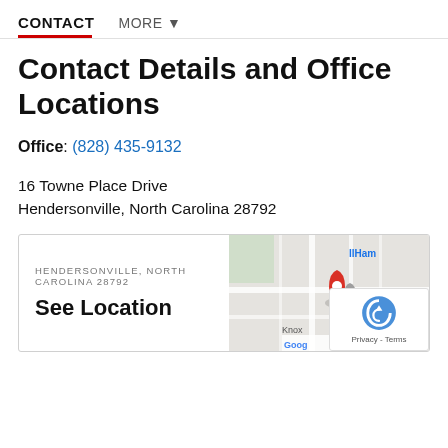CONTACT   MORE ▼
Contact Details and Office Locations
Office: (828) 435-9132
16 Towne Place Drive
Hendersonville, North Carolina 28792
[Figure (map): Google Maps thumbnail showing Hendersonville, North Carolina 28792 location with a red map pin marker. Text overlay: HENDERSONVILLE, NORTH CAROLINA 28792 / See Location. Lower right shows reCAPTCHA badge with Privacy - Terms.]